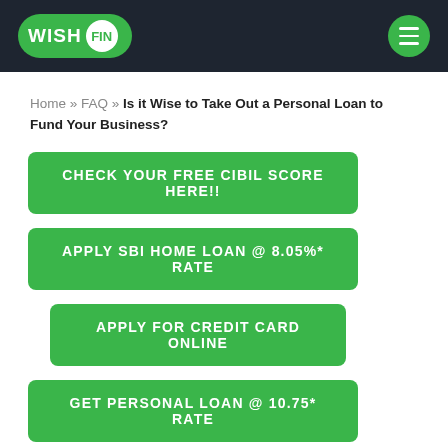WISHFIN
Home » FAQ » Is it Wise to Take Out a Personal Loan to Fund Your Business?
CHECK YOUR FREE CIBIL SCORE HERE!!
APPLY SBI HOME LOAN @ 8.05%* RATE
APPLY FOR CREDIT CARD ONLINE
GET PERSONAL LOAN @ 10.75* RATE